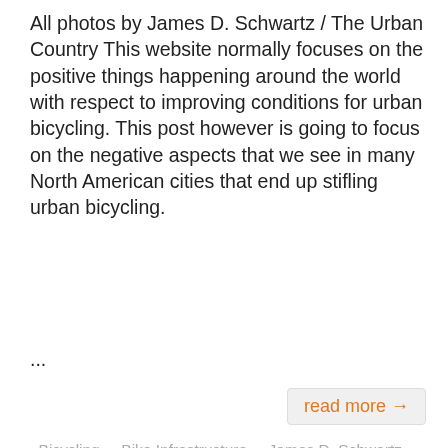All photos by James D. Schwartz / The Urban Country This website normally focuses on the positive things happening around the world with respect to improving conditions for urban bicycling. This post however is going to focus on the negative aspects that we see in many North American cities that end up stifling urban bicycling.
...
read more →
Bicycling · Bike Infrastructure · James D. Schwartz · Toronto
New York Bike Lanes Explained
[Figure (other): Comment badge showing the number 2]
Photo by James D. Schwartz / The Urban Country New York developed 320km of bicycle routes in